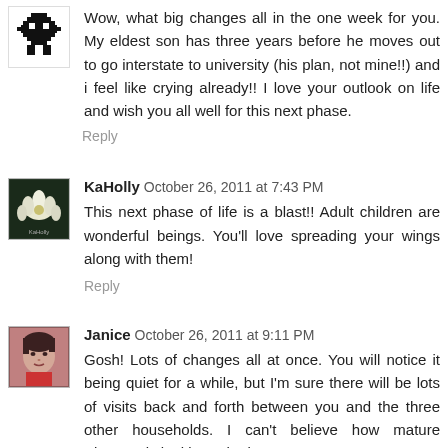[Figure (photo): Small avatar icon with a black cartoon face/emoji on white background]
Wow, what big changes all in the one week for you. My eldest son has three years before he moves out to go interstate to university (his plan, not mine!!) and i feel like crying already!! I love your outlook on life and wish you all well for this next phase.
Reply
[Figure (photo): Small avatar photo of a white lotus/water lily flower on dark background with text KaHolly]
KaHolly  October 26, 2011 at 7:43 PM
This next phase of life is a blast!! Adult children are wonderful beings. You'll love spreading your wings along with them!
Reply
[Figure (photo): Small avatar photo of a woman with short dark hair]
Janice  October 26, 2011 at 9:11 PM
Gosh! Lots of changes all at once. You will notice it being quiet for a while, but I'm sure there will be lots of visits back and forth between you and the three other households. I can't believe how mature Blossom is looking. She is